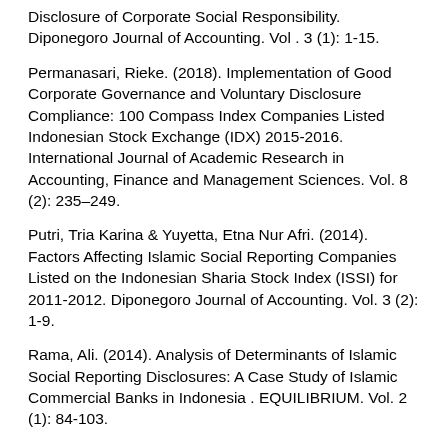Disclosure of Corporate Social Responsibility. Diponegoro Journal of Accounting. Vol . 3 (1): 1-15.
Permanasari, Rieke. (2018). Implementation of Good Corporate Governance and Voluntary Disclosure Compliance: 100 Compass Index Companies Listed Indonesian Stock Exchange (IDX) 2015-2016. International Journal of Academic Research in Accounting, Finance and Management Sciences. Vol. 8 (2): 235–249.
Putri, Tria Karina & Yuyetta, Etna Nur Afri. (2014). Factors Affecting Islamic Social Reporting Companies Listed on the Indonesian Sharia Stock Index (ISSI) for 2011-2012. Diponegoro Journal of Accounting. Vol. 3 (2): 1-9.
Rama, Ali. (2014). Analysis of Determinants of Islamic Social Reporting Disclosures: A Case Study of Islamic Commercial Banks in Indonesia . EQUILIBRIUM. Vol. 2 (1): 84-103.
Ramdhaningsih, Amalia & Utama, I Made Karya. (2013). Effect of Good Corporate Governance and Profitability Indicators on Disclosure of Corporate Social Responsibility . Accounting E-Journal of Udayana University. Vol. 2 (2): 65